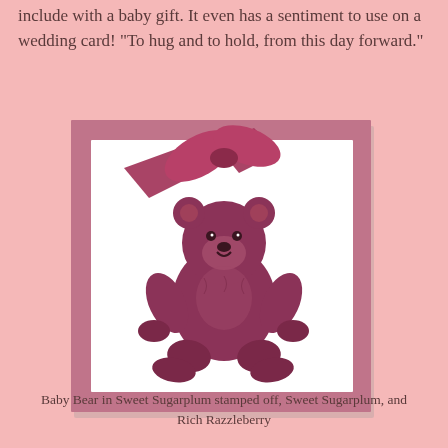include with a baby gift. It even has a sentiment to use on a wedding card!  "To hug and to hold, from this day forward."
[Figure (photo): A handmade greeting card with a pink/mauve background featuring a stamped teddy bear image in Sweet Sugarplum and Rich Razzleberry ink colors, with a decorative ribbon bow at the top left corner of the card.]
Baby Bear in Sweet Sugarplum stamped off, Sweet Sugarplum, and Rich Razzleberry